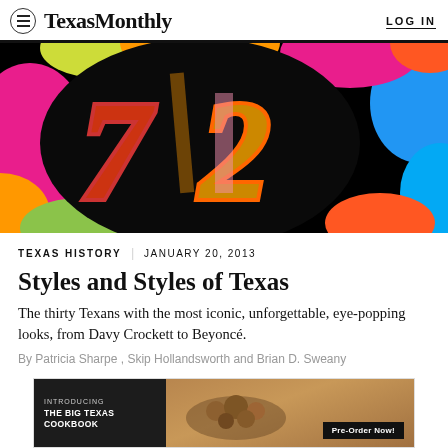TexasMonthly  LOG IN
[Figure (illustration): Colorful illustrated cover art with stylized number 72 on a black background surrounded by vibrant multicolored shapes]
TEXAS HISTORY  |  JANUARY 20, 2013
Styles and Styles of Texas
The thirty Texans with the most iconic, unforgettable, eye-popping looks, from Davy Crockett to Beyoncé.
By Patricia Sharpe , Skip Hollandsworth and Brian D. Sweany
[Figure (infographic): Advertisement banner: INTRODUCING THE BIG TEXAS COOKBOOK with food photo and Pre-Order Now! button]